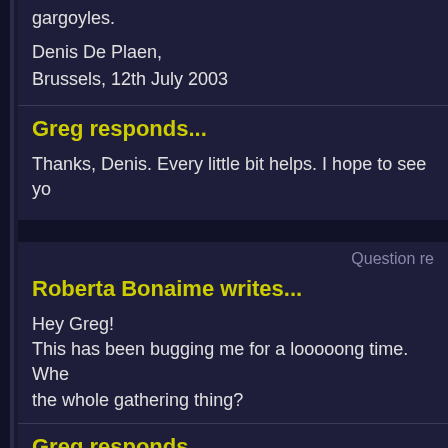gargoyles.
Denis De Plaen,
Brussels, 12th July 2003
Greg responds...
Thanks, Denis. Every little bit helps. I hope to see yo
Question re
Roberta Bonaime writes...
Hey Greg!
This has been bugging me for a looooong time. Whe
the whole gathering thing?
Greg responds...
I'm not sure I understand the question. Both Owen &
episodes. Do you mean during that brief period betw
Xanatos and then resurfaced to help fight Oberon?